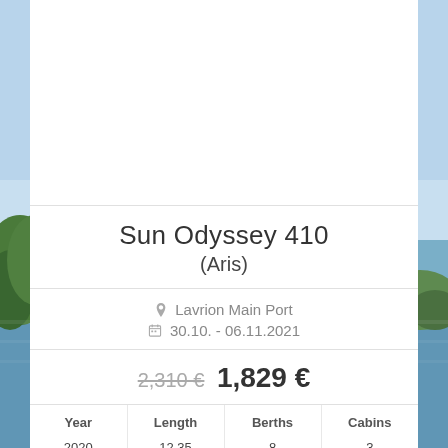[Figure (photo): Scenic coastal photo with blue sea, green hillside trees, and a marina in the background. A white card overlay sits in the center-right area.]
Sun Odyssey 410
(Aris)
Lavrion Main Port
30.10. - 06.11.2021
2,310 € 1,829 €
| Year | Length | Berths | Cabins |
| --- | --- | --- | --- |
| 2020 | 12.35 | 8 | 3 |